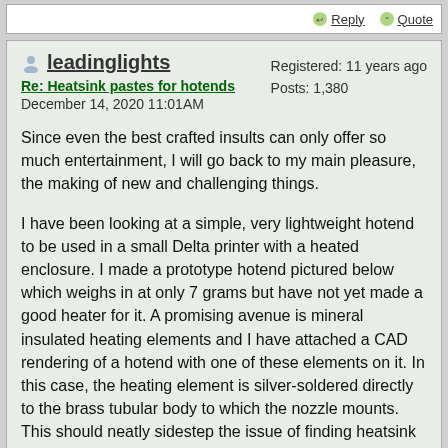Reply  Quote
leadinglights
Re: Heatsink pastes for hotends
December 14, 2020 11:01AM
Registered: 11 years ago
Posts: 1,380
Since even the best crafted insults can only offer so much entertainment, I will go back to my main pleasure, the making of new and challenging things.
I have been looking at a simple, very lightweight hotend to be used in a small Delta printer with a heated enclosure. I made a prototype hotend pictured below which weighs in at only 7 grams but have not yet made a good heater for it. A promising avenue is mineral insulated heating elements and I have attached a CAD rendering of a hotend with one of these elements on it. In this case, the heating element is silver-soldered directly to the brass tubular body to which the nozzle mounts. This should neatly sidestep the issue of finding heatsink compounds.